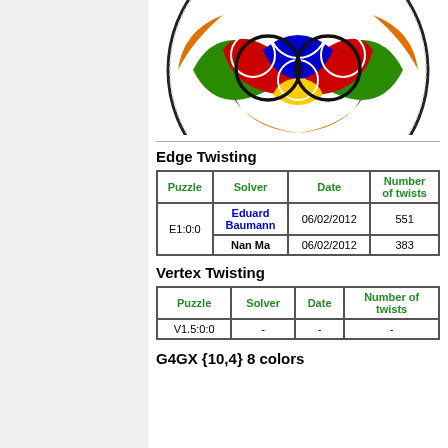[Figure (illustration): Colorful circular puzzle diagram with green, red, blue, orange, yellow colored sections and overlapping circles pattern (hyperbolic tiling)]
Edge Twisting
| Puzzle | Solver | Date | Number of twists |
| --- | --- | --- | --- |
| E1:0:0 | Eduard Baumann | 06/02/2012 | 551 |
| E1:0:0 | Nan Ma | 06/02/2012 | 383 |
Vertex Twisting
| Puzzle | Solver | Date | Number of twists |
| --- | --- | --- | --- |
| V1.5:0:0 | - | - | - |
G4GX {10,4} 8 colors